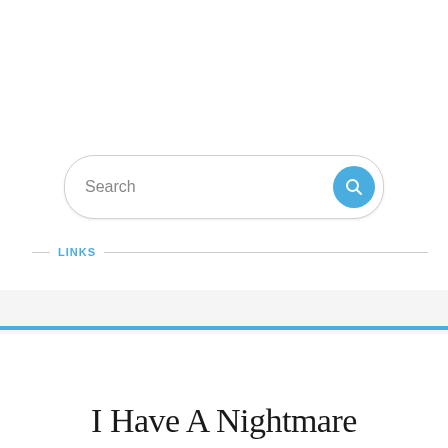[Figure (screenshot): Search bar with rounded rectangle and blue search button with magnifying glass icon]
LINKS
Verena Kyratzes
Lands of Dream
I Have A Nightmare